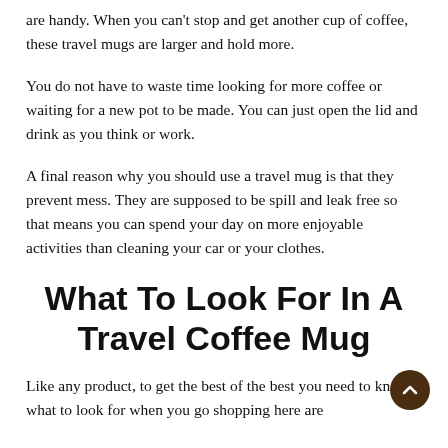are handy. When you can't stop and get another cup of coffee, these travel mugs are larger and hold more.
You do not have to waste time looking for more coffee or waiting for a new pot to be made. You can just open the lid and drink as you think or work.
A final reason why you should use a travel mug is that they prevent mess. They are supposed to be spill and leak free so that means you can spend your day on more enjoyable activities than cleaning your car or your clothes.
What To Look For In A Travel Coffee Mug
Like any product, to get the best of the best you need to know what to look for when you go shopping here are